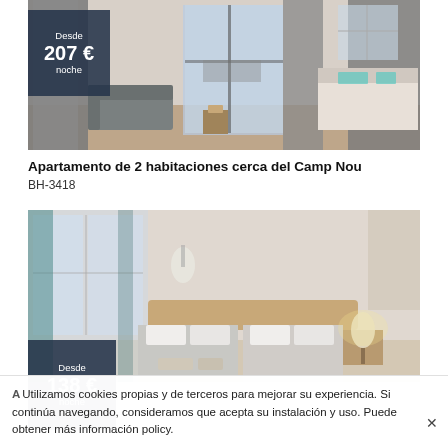[Figure (photo): Interior photo of apartment with open balcony doors, grey curtains, sofa, and bed visible. Price badge shows Desde 207 € noche.]
Apartamento de 2 habitaciones cerca del Camp Nou
BH-3418
[Figure (photo): Interior photo of bedroom with two beds, teal headboard, warm lighting, and teal curtains. Price badge shows Desde 138 € noche.]
Utilizamos cookies propias y de terceros para mejorar su experiencia. Si continúa navegando, consideramos que acepta su instalación y uso. Puede obtener más información policy.